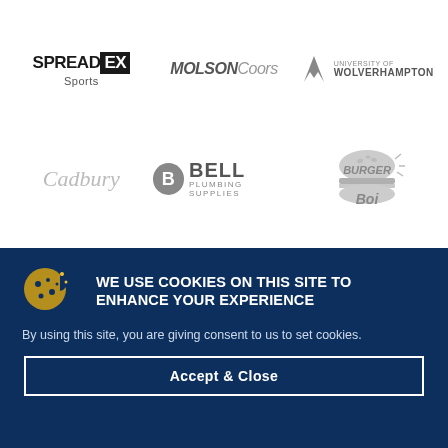[Figure (logo): Sponsor logos in two rows: SpreadEx Sports, Molson Coors, University of Wolverhampton (top row); Cadbury, Bell Plumbing Supplies, Burger Boi (bottom row)]
WE USE COOKIES ON THIS SITE TO ENHANCE YOUR EXPERIENCE
By using this site, you are giving consent to us to set cookies.
Accept & Close